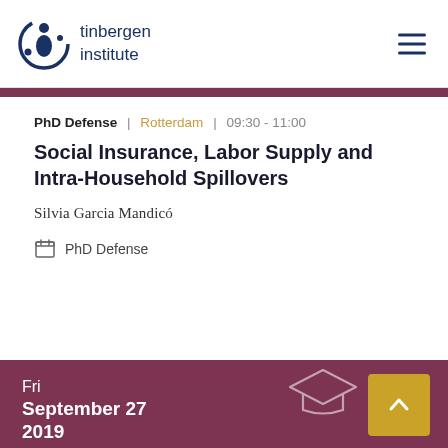[Figure (logo): Tinbergen Institute logo with figure icon and text 'tinbergen institute']
PhD Defense | Rotterdam | 09:30 - 11:00
Social Insurance, Labor Supply and Intra-Household Spillovers
Silvia Garcia Mandicó
PhD Defense
Fri
September 27
2019